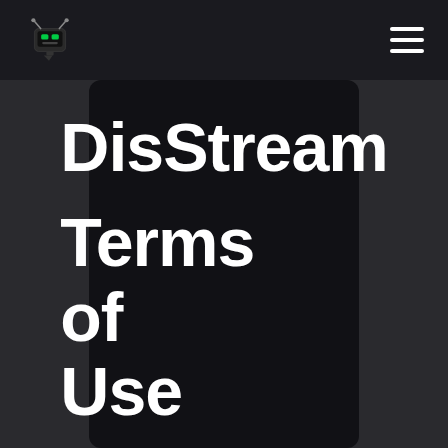DisStream navigation header with logo and hamburger menu
DisStream Terms of Use